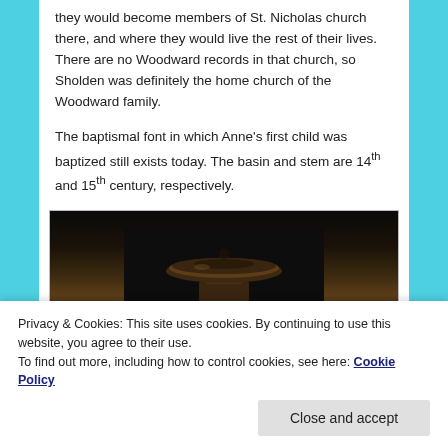they would become members of St. Nicholas church there, and where they would live the rest of their lives. There are no Woodward records in that church, so Sholden was definitely the home church of the Woodward family.
The baptismal font in which Anne's first child was baptized still exists today. The basin and stem are 14th and 15th century, respectively.
[Figure (photo): Dark photograph of an old baptismal font, showing the basin and top portion. The font appears to be made of dark stone or metal, photographed against a very dark background.]
Privacy & Cookies: This site uses cookies. By continuing to use this website, you agree to their use.
To find out more, including how to control cookies, see here: Cookie Policy